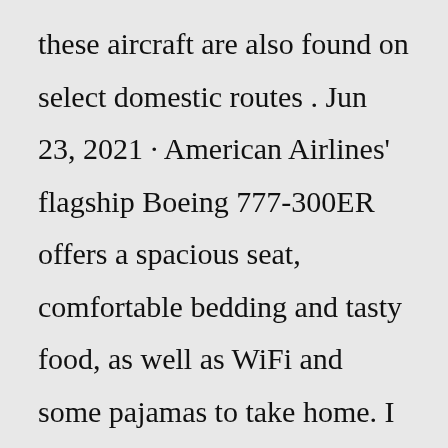these aircraft are also found on select domestic routes . Jun 23, 2021 · American Airlines' flagship Boeing 777-300ER offers a spacious seat, comfortable bedding and tasty food, as well as WiFi and some pajamas to take home. I flew this product back from my original hometown of Sydney, Australia to my adopted home of the U.S. in January 2021. I used 108,400 Qantas Points + $84 in taxes to book this redemption. On a flight because of the